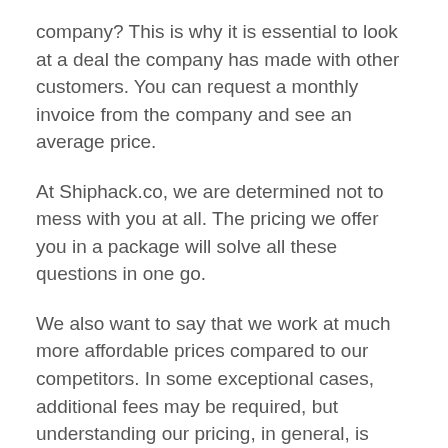company? This is why it is essential to look at a deal the company has made with other customers. You can request a monthly invoice from the company and see an average price.
At Shiphack.co, we are determined not to mess with you at all. The pricing we offer you in a package will solve all these questions in one go.
We also want to say that we work at much more affordable prices compared to our competitors. In some exceptional cases, additional fees may be required, but understanding our pricing, in general, is relatively simple.